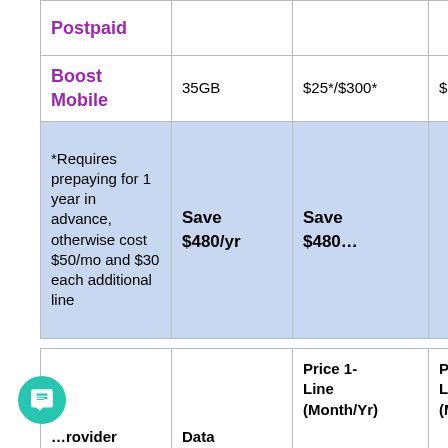| Provider | Data | Price 1-Line (Month/Yr) | Price 2-Lines (Mon... |
| --- | --- | --- | --- |
| Postpaid |  |  |  |
| Boost Mobile | 35GB | $25*/$300* | $100* |
| *Requires prepaying for 1 year in advance, otherwise cost $50/mo and $30 each additional line | Save $480/yr | Save $480... |  |
| Provider | Data | Price 1-Line (Month/Yr) | Price Lines (Mon... |
| --- | --- | --- | --- |